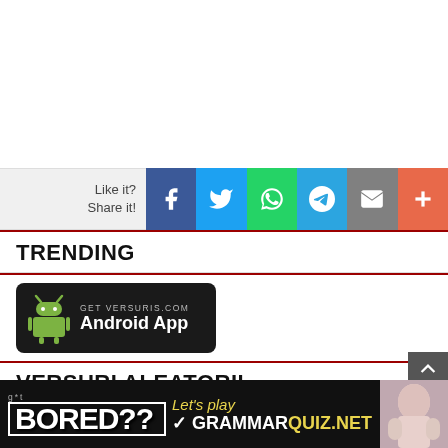[Figure (screenshot): White blank area at top of webpage]
[Figure (infographic): Social share bar with Like it? Share it! label and buttons: Facebook, Twitter, WhatsApp, Telegram, Email, More]
TRENDING
[Figure (infographic): Android app banner: GET VERSURIS.COM Android App on dark background with Android robot icon]
VERSURI ALEATORII
rumah untuk pulang – live at jas – illona atsp  > illo
[Figure (infographic): Bottom advertisement banner: got BORED?? Let's play GRAMMARQUIZ.NET with woman photo]